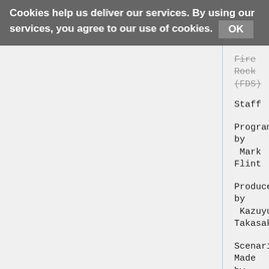Cookies help us deliver our services. By using our services, you agree to our use of cookies. OK
Fire Rock (FDS)
Staff
Programmed by
 Mark Flint
Produced by
 Kazuyuki Takasaki
Scenario Made by
 K. Takasaki (Kazuyuki Takasaki
Game Effection
 Mark Flint
 K. Takasaki
Co-Ordination
 Naohiro Yosida (Naohiro Yoshio
Art Direction
 K. Takasaki